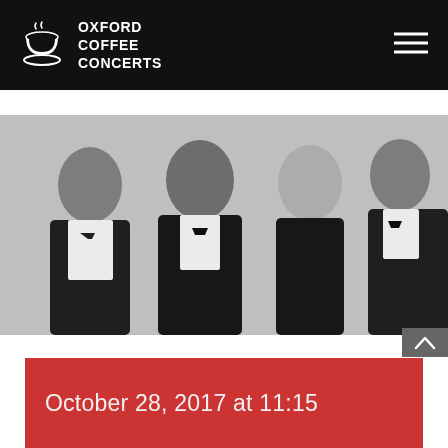OXFORD COFFEE CONCERTS
[Figure (photo): Black and white photograph of four musicians in formal attire (tuxedos and black dress), smiling and posing together against a light background.]
October 28, 2017 at 11:15